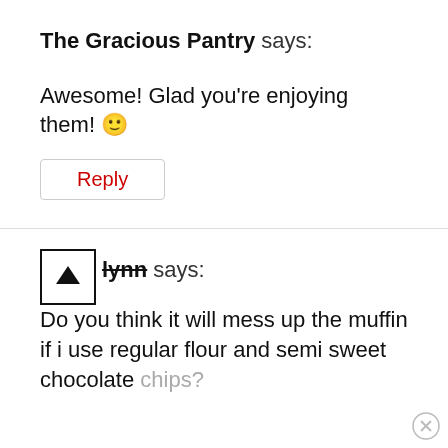The Gracious Pantry says:
Awesome! Glad you're enjoying them! 🙂
Reply
lynn says:
Do you think it will mess up the muffin if i use regular flour and semi sweet chocolate chips?